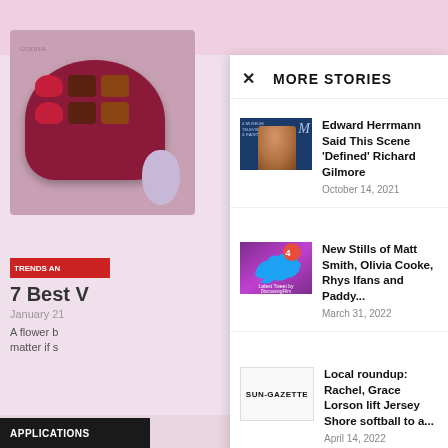MORE STORIES
Edward Herrmann Said This Scene ‘Defined’ Richard Gilmore
October 14, 2021
New Stills of Matt Smith, Olivia Cooke, Rhys Ifans and Paddy...
March 31, 2022
Local roundup: Rachel, Grace Lorson lift Jersey Shore softball to a...
April 14, 2022
7 Best V
January 21
A flower b matter if s
APPLICATIONS